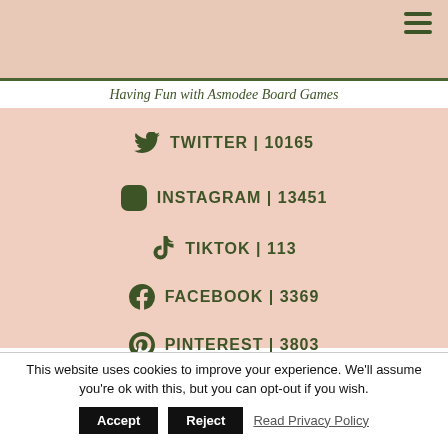[Figure (photo): Top banner image with pinkish-beige background showing partial board game scene, hamburger menu icon in top right]
Having Fun with Asmodee Board Games
TWITTER | 10165
INSTAGRAM | 13451
TIKTOK | 113
FACEBOOK | 3369
PINTEREST | 3803
This website uses cookies to improve your experience. We'll assume you're ok with this, but you can opt-out if you wish.
Accept
Reject
Read Privacy Policy